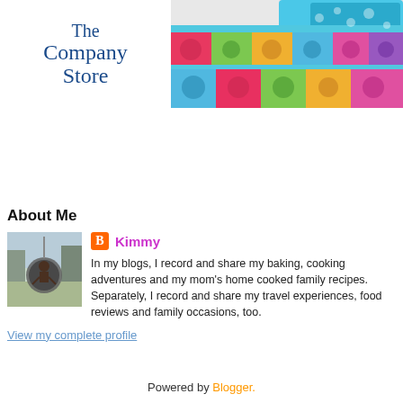[Figure (logo): The Company Store logo in dark blue serif text]
[Figure (photo): Colorful floral patchwork quilt and pillow on a bed]
About Me
[Figure (photo): Profile photo of Kimmy sitting in a round chair outdoors]
Kimmy
In my blogs, I record and share my baking, cooking adventures and my mom's home cooked family recipes. Separately, I record and share my travel experiences, food reviews and family occasions, too.
View my complete profile
Powered by Blogger.